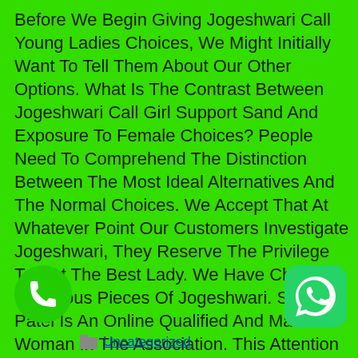Before We Begin Giving Jogeshwari Call Young Ladies Choices, We Might Initially Want To Tell Them About Our Other Options. What Is The Contrast Between Jogeshwari Call Girl Support Sand And Exposure To Female Choices? People Need To Comprehend The Distinction Between The Most Ideal Alternatives And The Normal Choices. We Accept That At Whatever Point Our Customers Investigate Jogeshwari, They Reserve The Privilege To Get The Best Lady. We Have Choices In Various Pieces Of Jogeshwari. Sweety Patel Is An Online Qualified And Master Woman In The Association. This Attention Is On Getting The Best Different Choices To The Clients, Regardless.
[Figure (illustration): Green circle phone call icon at bottom left]
[Figure (logo): WhatsApp icon (green rounded square with white WhatsApp logo) at bottom right]
Uncategorized